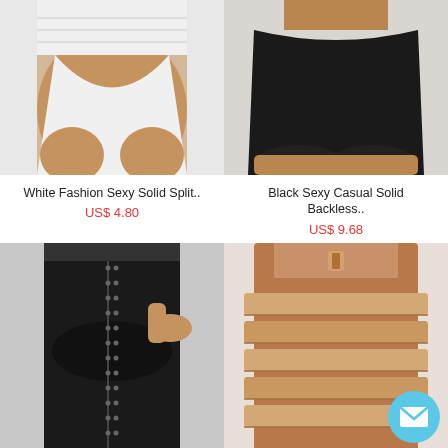[Figure (photo): White shapewear bikini brief worn by a dark-skinned model, showing the waistband and hips against a white background]
White Fashion Sexy Solid Split..
US$ 4.80
[Figure (photo): Black shapewear cycling shorts worn by a model, showing the hips and thighs against a light background]
Black Sexy Casual Solid Backless..
US$ 9.68
[Figure (photo): Black waist trainer with hook-and-eye closures worn by a model, showing the waist and hips]
[Figure (photo): Nude/beige postpartum belly wrap waist band worn by a model showing the back, with email and scroll UI overlays]